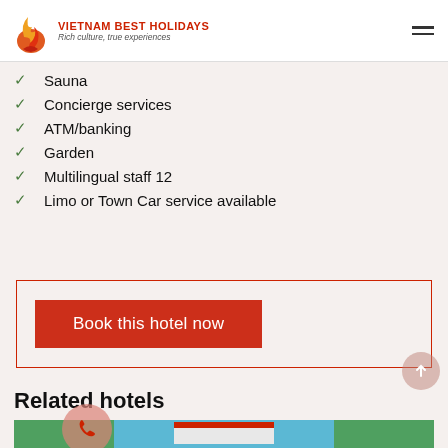VIETNAM BEST HOLIDAYS — Rich culture, true experiences
Sauna
Concierge services
ATM/banking
Garden
Multilingual staff 12
Limo or Town Car service available
Book this hotel now
Related hotels
[Figure (photo): Hotel building with blue sky and green trees]